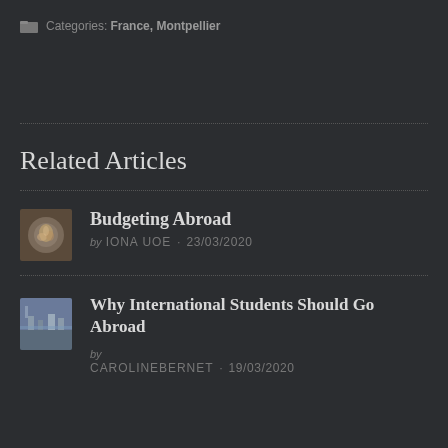Categories: France, Montpellier
Related Articles
[Figure (photo): Thumbnail image for Budgeting Abroad article - circular food/coffee art photo]
Budgeting Abroad
by IONA UOE · 23/03/2020
[Figure (photo): Thumbnail image for Why International Students Should Go Abroad - outdoor/cityscape photo]
Why International Students Should Go Abroad
by CAROLINEBERNET · 19/03/2020